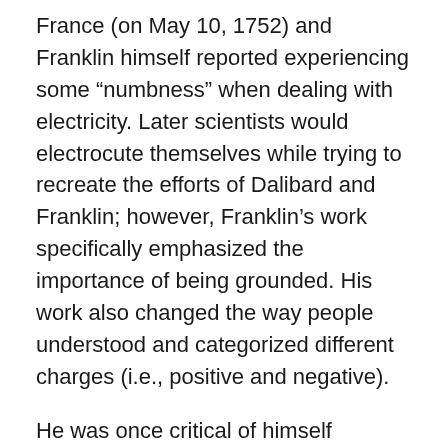France (on May 10, 1752) and Franklin himself reported experiencing some “numbness” when dealing with electricity. Later scientists would electrocute themselves while trying to recreate the efforts of Dalibard and Franklin; however, Franklin’s work specifically emphasized the importance of being grounded. His work also changed the way people understood and categorized different charges (i.e., positive and negative).
He was once critical of himself because, as he wrote, his experiments were “able to produce nothing in this way of use to Mankind.” Yet, he stayed curious, kept trying new things and eventually invented many things that made life easier for people; including the lightening rod, bifocals, and the Franklin stove. While these things all served a purpose and made life easier, maybe even more efficient, they didn’t (in and of themselves) help others live well –